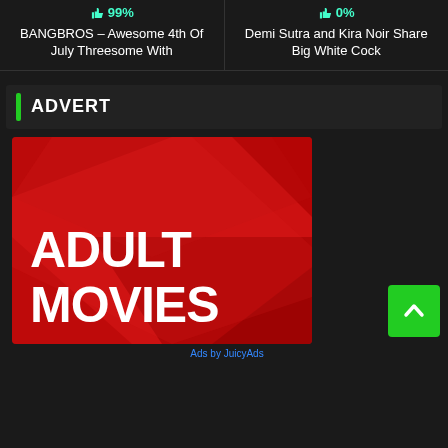👍 99%
BANGBROS – Awesome 4th Of July Threesome With
👍 0%
Demi Sutra and Kira Noir Share Big White Cock
ADVERT
[Figure (illustration): Red advertisement banner with geometric background shapes and bold white text reading ADULT MOVIES]
Ads by JuicyAds